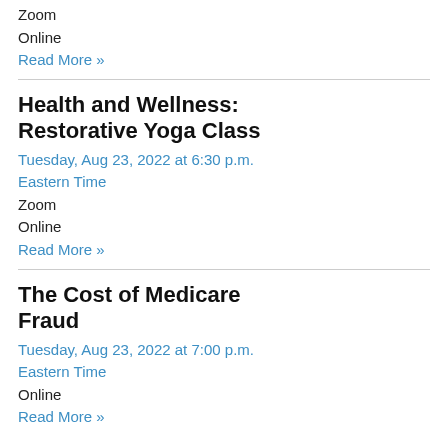Zoom
Online
Read More »
Health and Wellness: Restorative Yoga Class
Tuesday, Aug 23, 2022 at 6:30 p.m.
Eastern Time
Zoom
Online
Read More »
The Cost of Medicare Fraud
Tuesday, Aug 23, 2022 at 7:00 p.m.
Eastern Time
Online
Read More »